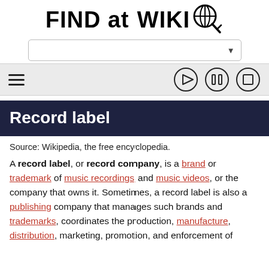FIND at WIKI (globe logo with magnifying glass)
[Figure (screenshot): Search bar dropdown UI element]
[Figure (screenshot): Navigation bar with hamburger menu and media control buttons (play, pause, stop)]
Record label
Source: Wikipedia, the free encyclopedia.
A record label, or record company, is a brand or trademark of music recordings and music videos, or the company that owns it. Sometimes, a record label is also a publishing company that manages such brands and trademarks, coordinates the production, manufacture, distribution, marketing, promotion, and enforcement of